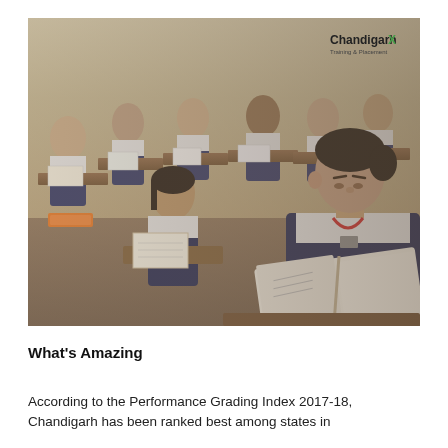[Figure (photo): Photograph of Indian school students in navy blue and white uniforms sitting at wooden desks in a classroom, writing in notebooks. A female student in the foreground is reading from a book. A watermark reading 'ChandigarhX' appears in the top-right corner of the image.]
What's Amazing
According to the Performance Grading Index 2017-18, Chandigarh has been ranked best among states in